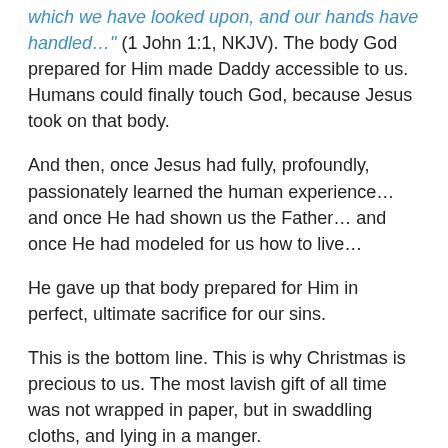“which we have looked upon, and our hands have handled…” (1 John 1:1, NKJV). The body God prepared for Him made Daddy accessible to us. Humans could finally touch God, because Jesus took on that body.
And then, once Jesus had fully, profoundly, passionately learned the human experience… and once He had shown us the Father… and once He had modeled for us how to live…
He gave up that body prepared for Him in perfect, ultimate sacrifice for our sins.
This is the bottom line. This is why Christmas is precious to us. The most lavish gift of all time was not wrapped in paper, but in swaddling cloths, and lying in a manger.
“With burnt offerings and sin offerings you were not